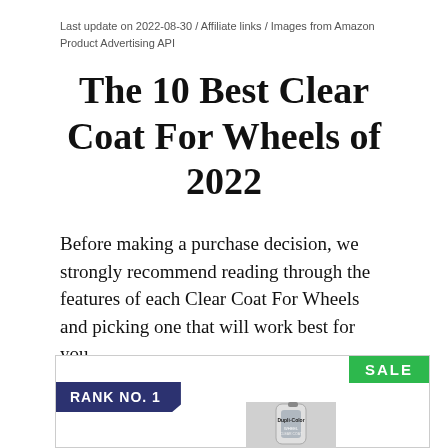Last update on 2022-08-30 / Affiliate links / Images from Amazon Product Advertising API
The 10 Best Clear Coat For Wheels of 2022
Before making a purchase decision, we strongly recommend reading through the features of each Clear Coat For Wheels and picking one that will work best for you.
[Figure (other): Product card showing RANK NO. 1 badge in dark blue/purple, a SALE badge in green, and a partial product image of a Dupli-Color spray can at the bottom]